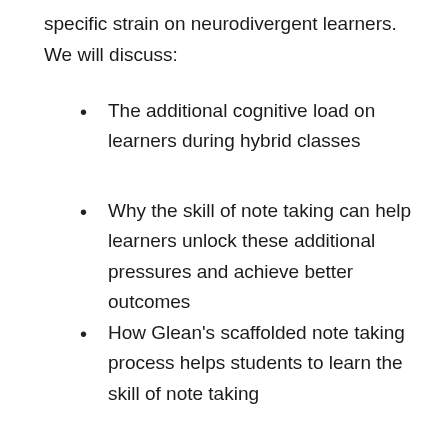specific strain on neurodivergent learners. We will discuss:
The additional cognitive load on learners during hybrid classes
Why the skill of note taking can help learners unlock these additional pressures and achieve better outcomes
How Glean's scaffolded note taking process helps students to learn the skill of note taking
Plus, we'll hear from students about their experience using Glean during the pandemic.
Secure your place today!